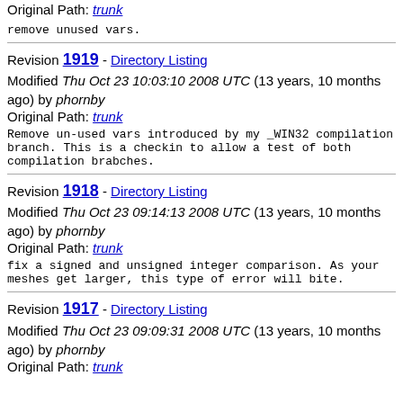Original Path: trunk
remove unused vars.
Revision 1919 - Directory Listing
Modified Thu Oct 23 10:03:10 2008 UTC (13 years, 10 months ago) by phornby
Original Path: trunk
Remove un-used vars introduced by my _WIN32 compilation branch. This is a checkin to allow a test of both compilation brabches.
Revision 1918 - Directory Listing
Modified Thu Oct 23 09:14:13 2008 UTC (13 years, 10 months ago) by phornby
Original Path: trunk
fix a signed and unsigned integer comparison. As your meshes get larger, this type of error will bite.
Revision 1917 - Directory Listing
Modified Thu Oct 23 09:09:31 2008 UTC (13 years, 10 months ago) by phornby
Original Path: trunk